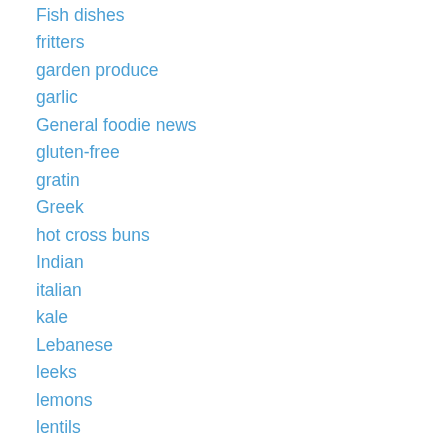Fish dishes
fritters
garden produce
garlic
General foodie news
gluten-free
gratin
Greek
hot cross buns
Indian
italian
kale
Lebanese
leeks
lemons
lentils
Mexican
mushroom
One pot wonders
pasta